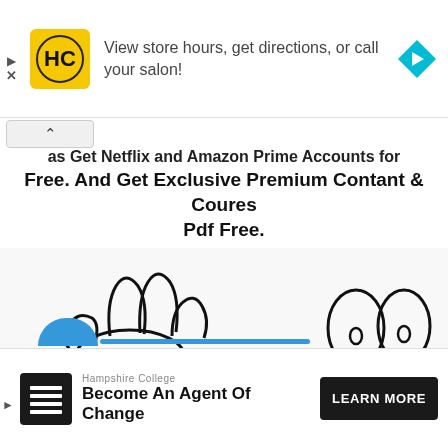[Figure (illustration): Top advertisement banner with HC (Hairclub) yellow logo, text 'View store hours, get directions, or call your salon!', and a blue diamond navigation arrow icon on the right.]
...as Get Netflix and Amazon Prime Accounts for Free. And Get Exclusive Premium Contant & Coures Pdf Free.
[Figure (illustration): Hand-drawn cartoon style illustration: a cartoon hand showing three fingers on the left, and a pair of cartoon eyes (two oval shapes with pupils) on the right, connected by a curved arrow/smile shape.]
[Figure (illustration): Bottom advertisement banner: Hampshire College logo (black square with lines), text 'Hampshire College / Become An Agent Of Change', and a 'LEARN MORE' button.]